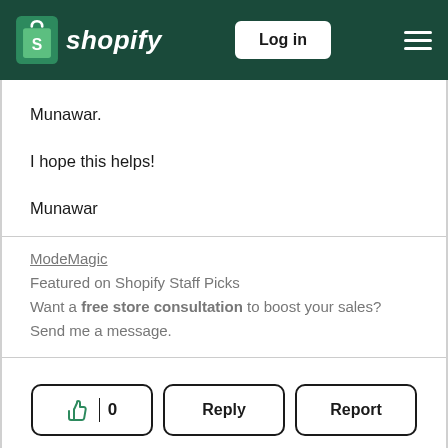[Figure (screenshot): Shopify navigation header with logo, Log in button, and hamburger menu on dark green background]
Munawar.
I hope this helps!
Munawar
ModeMagic
Featured on Shopify Staff Picks
Want a free store consultation to boost your sales? Send me a message.
👍 | 0   Reply   Report